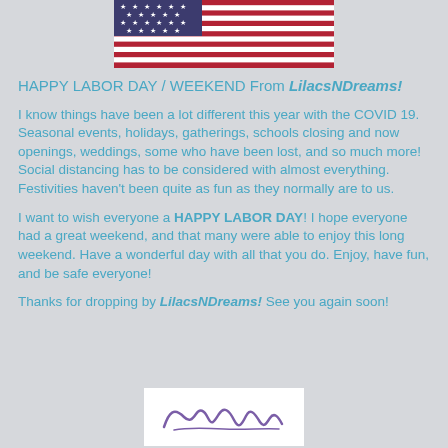[Figure (illustration): American flag image cropped showing stars and stripes in red, white, and blue]
HAPPY LABOR DAY / WEEKEND From LilacsNDreams!
I know things have been a lot different this year with the COVID 19. Seasonal events, holidays, gatherings, schools closing and now openings, weddings, some who have been lost, and so much more! Social distancing has to be considered with almost everything. Festivities haven't been quite as fun as they normally are to us.
I want to wish everyone a HAPPY LABOR DAY! I hope everyone had a great weekend, and that many were able to enjoy this long weekend. Have a wonderful day with all that you do. Enjoy, have fun, and be safe everyone!
Thanks for dropping by LilacsNDreams! See you again soon!
[Figure (illustration): Handwritten cursive signature on white background]